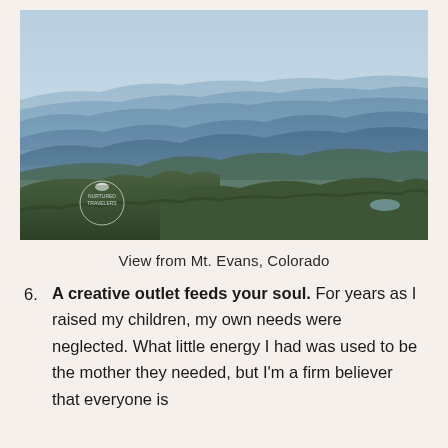[Figure (photo): Aerial panoramic view of rolling blue mountain ranges receding into a hazy sky, with forested slopes in the foreground and valleys between ridges. A small circular watermark/logo is visible in the lower left of the photo.]
View from Mt. Evans, Colorado
6. A creative outlet feeds your soul. For years as I raised my children, my own needs were neglected. What little energy I had was used to be the mother they needed, but I'm a firm believer that everyone is